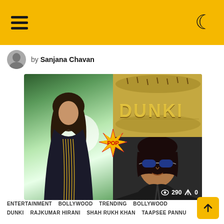Navigation bar with hamburger menu and moon/dark mode icon
by Sanjana Chavan
[Figure (photo): Collage of three images: left - woman in black dress with gold accessories (Taapsee Pannu), top right - DUNKI movie title written in sand, bottom right - man in sunglasses (Shah Rukh Khan). A 'POP' starburst graphic overlays the center. View count overlay shows 290 views and 0 shares.]
ENTERTAINMENT   BOLLYWOOD   TRENDING   BOLLYWOOD   DUNKI   RAJKUMAR HIRANI   SHAH RUKH KHAN   TAAPSEE PANNU